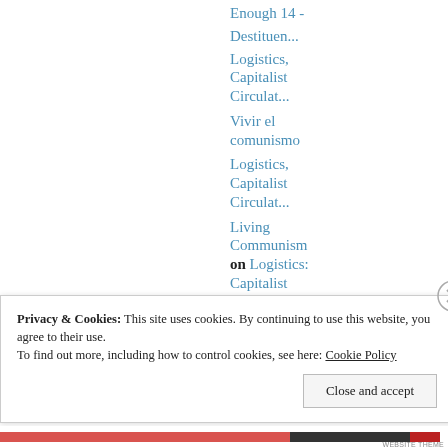Enough 14 -
Destituen...
Logistics, Capitalist Circulat...
Vivir el comunismo
Logistics, Capitalist Circulat...
Living Communism on Logistics: Capitalist Circulat...
Privacy & Cookies: This site uses cookies. By continuing to use this website, you agree to their use.
To find out more, including how to control cookies, see here: Cookie Policy
Close and accept